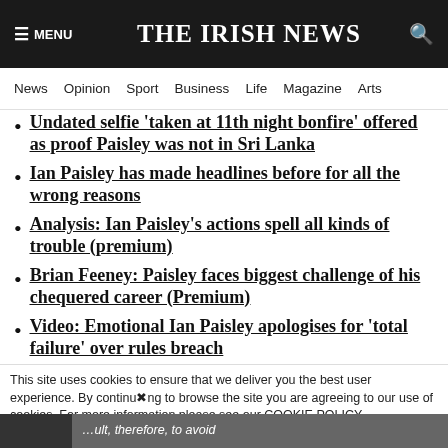≡ MENU  THE IRISH NEWS  🔍
News  Opinion  Sport  Business  Life  Magazine  Arts
Undated selfie 'taken at 11th night bonfire' offered as proof Paisley was not in Sri Lanka
Ian Paisley has made headlines before for all the wrong reasons
Analysis: Ian Paisley's actions spell all kinds of trouble (premium)
Brian Feeney: Paisley faces biggest challenge of his chequered career (Premium)
Video: Emotional Ian Paisley apologises for 'total failure' over rules breach
This site uses cookies to ensure that we deliver you the best user experience. By continuing to browse the site you are agreeing to our use of cookies. For more information please see our COOKIE POLICY.   ...ult, therefore, to avoid